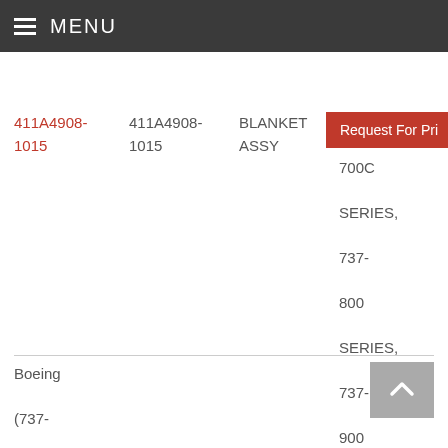MENU
| Part Link | Part Number | Description | Series/Applicability | Action |
| --- | --- | --- | --- | --- |
| 411A4908-1015 | 411A4908-1015 | BLANKET ASSY | 737-700C SERIES, 737-800 SERIES, 737-900 SERIES, 737-900ER SERIES) | Request For Price |
Boeing (737-